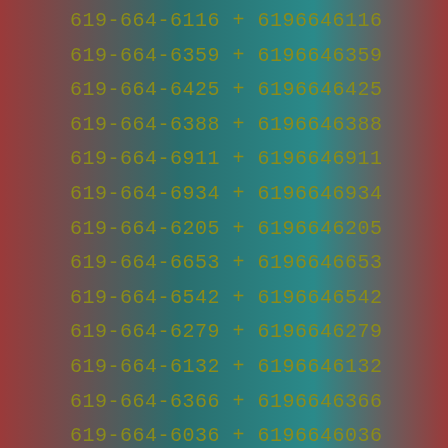619-664-6116 + 6196646116
619-664-6359 + 6196646359
619-664-6425 + 6196646425
619-664-6388 + 6196646388
619-664-6911 + 6196646911
619-664-6934 + 6196646934
619-664-6205 + 6196646205
619-664-6653 + 6196646653
619-664-6542 + 6196646542
619-664-6279 + 6196646279
619-664-6132 + 6196646132
619-664-6366 + 6196646366
619-664-6036 + 6196646036
619-664-6380 + 6196646380
619-664-6223 + 6196646223
619-664-6998 + 6196646998
619-664-6882 + 6196646882
619-664-6127 + 6196646127
619-664-6649 + 6196646649
619-664-6745 + 6196646745
619-664-6581 + 6196646581
619-664-6584 + 6196646584
619-664-6878 + 6196646878